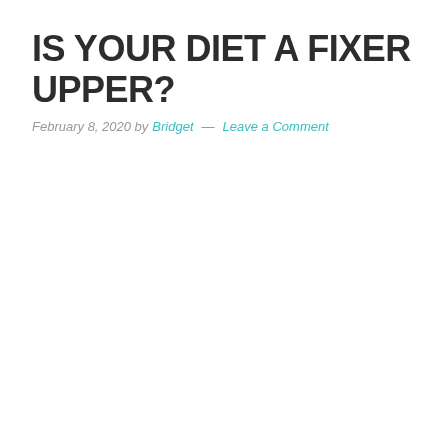IS YOUR DIET A FIXER UPPER?
February 8, 2020 by Bridget — Leave a Comment